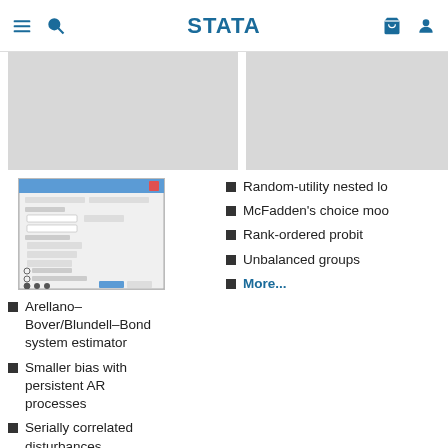Stata
[Figure (screenshot): Two placeholder image boxes at top of page]
[Figure (screenshot): Small screenshot of Stata dialog window]
Arellano–Bover/Blundell–Bond system estimator
Smaller bias with persistent AR processes
Serially correlated disturbances
Test overidentifying
Random-utility nested lo
McFadden's choice moo
Rank-ordered probit
Unbalanced groups
More...